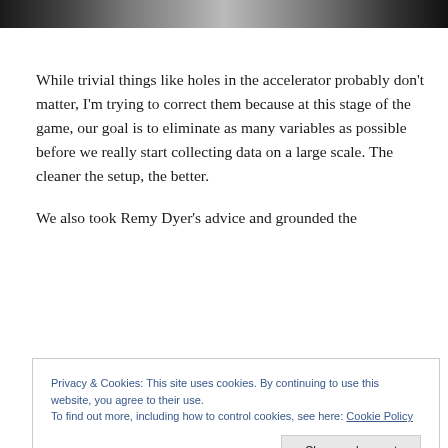[Figure (photo): A partial photo strip at the top of the page showing dark/muted tones, appears to be a cropped image of people or equipment]
While trivial things like holes in the accelerator probably don't matter, I'm trying to correct them because at this stage of the game, our goal is to eliminate as many variables as possible before we really start collecting data on a large scale. The cleaner the setup, the better.
We also took Remy Dyer's advice and grounded the
Privacy & Cookies: This site uses cookies. By continuing to use this website, you agree to their use.
To find out more, including how to control cookies, see here: Cookie Policy
gun.